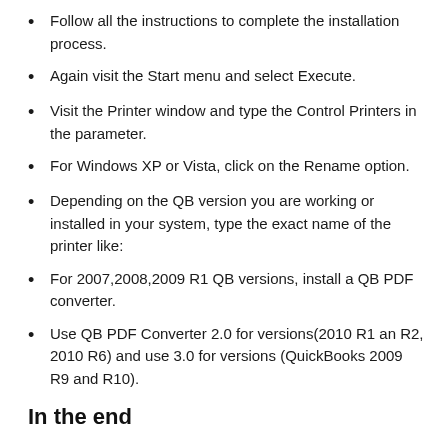Follow all the instructions to complete the installation process.
Again visit the Start menu and select Execute.
Visit the Printer window and type the Control Printers in the parameter.
For Windows XP or Vista, click on the Rename option.
Depending on the QB version you are working or installed in your system, type the exact name of the printer like:
For 2007,2008,2009 R1 QB versions, install a QB PDF converter.
Use QB PDF Converter 2.0 for versions(2010 R1 an R2, 2010 R6) and use 3.0 for versions (QuickBooks 2009 R9 and R10).
In the end